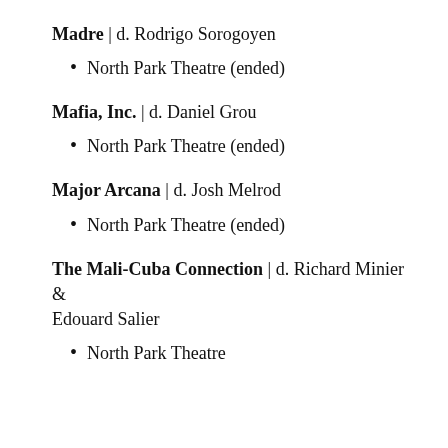Madre | d. Rodrigo Sorogoyen
North Park Theatre (ended)
Mafia, Inc. | d. Daniel Grou
North Park Theatre (ended)
Major Arcana | d. Josh Melrod
North Park Theatre (ended)
The Mali-Cuba Connection | d. Richard Minier & Edouard Salier
North Park Theatre